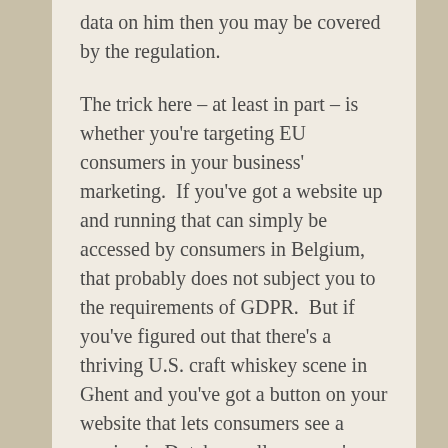data on him then you may be covered by the regulation.
The trick here – at least in part – is whether you're targeting EU consumers in your business' marketing.  If you've got a website up and running that can simply be accessed by consumers in Belgium, that probably does not subject you to the requirements of GDPR.  But if you've figured out that there's a thriving U.S. craft whiskey scene in Ghent and you've got a button on your website that lets consumers see a version in Dutch – well now you're probably going to need to comply.